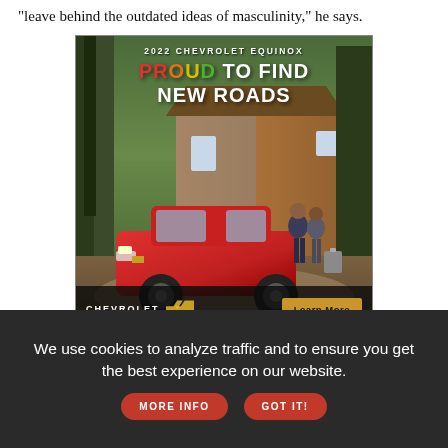"leave behind the outdated ideas of masculinity," he says.
[Figure (photo): Chevrolet 2022 Equinox advertisement. A red Chevrolet Equinox SUV is parked in front of a rustic stone and wood house surrounded by tall trees. Two people with luggage stand to the right. The ad reads '2022 CHEVROLET EQUINOX' and 'PROUD TO FIND NEW ROADS' in large text. The bottom bar shows the Chevrolet bowtie logo and a 'Learn More' button.]
Beauty is more than hair, says Brown. "We shouldn't be saying to each other, 'Look at your hair, that's what's going to make you
We use cookies to analyze traffic and to ensure you get the best experience on our website.
MORE INFO
GOT IT!